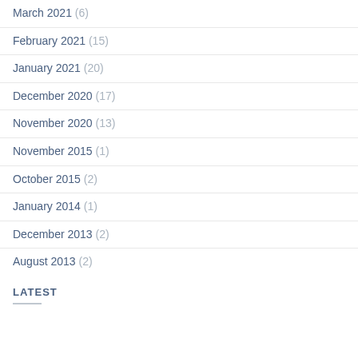March 2021 (6)
February 2021 (15)
January 2021 (20)
December 2020 (17)
November 2020 (13)
November 2015 (1)
October 2015 (2)
January 2014 (1)
December 2013 (2)
August 2013 (2)
LATEST